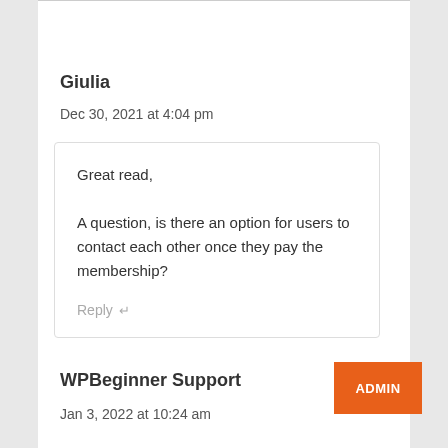Giulia
Dec 30, 2021 at 4:04 pm
Great read,
A question, is there an option for users to contact each other once they pay the membership?
Reply
WPBeginner Support
ADMIN
Jan 3, 2022 at 10:24 am